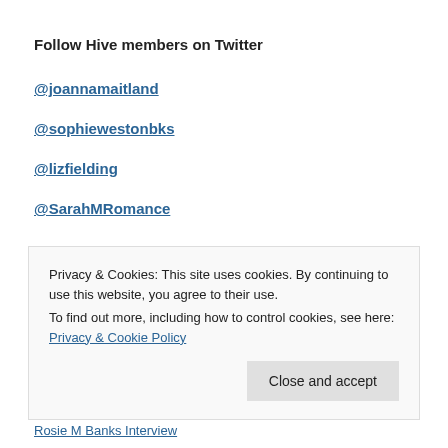Follow Hive members on Twitter
@joannamaitland
@sophiewestonbks
@lizfielding
@SarahMRomance
POPULAR POSTS
Privacy & Cookies: This site uses cookies. By continuing to use this website, you agree to their use.
To find out more, including how to control cookies, see here: Privacy & Cookie Policy
Close and accept
Rosie M Banks Interview